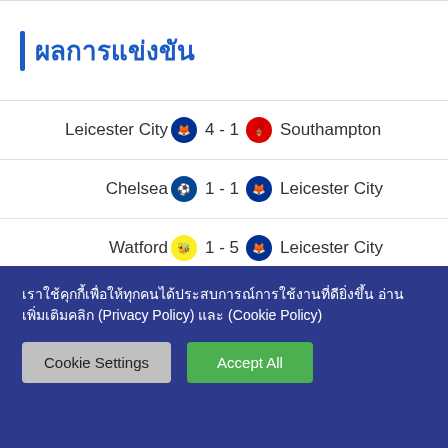ผลการแข่งขัน
| Home | Score | Away |
| --- | --- | --- |
| Leicester City | 4 - 1 | Southampton |
| Chelsea | 1 - 1 | Leicester City |
| Watford | 1 - 5 | Leicester City |
เราใช้คุกกี้เพื่อให้ทุกคนได้ประสบการณ์การใช้งานที่ดียิ่งขึ้น อ่านเพิ่มเติมคลิก (Privacy Policy) และ (Cookie Policy)